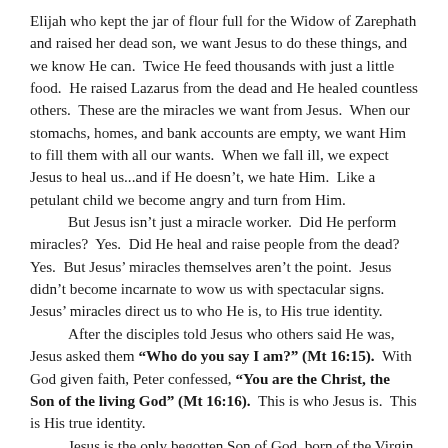Elijah who kept the jar of flour full for the Widow of Zarephath and raised her dead son, we want Jesus to do these things, and we know He can.  Twice He feed thousands with just a little food.  He raised Lazarus from the dead and He healed countless others.  These are the miracles we want from Jesus.  When our stomachs, homes, and bank accounts are empty, we want Him to fill them with all our wants.  When we fall ill, we expect Jesus to heal us...and if He doesn't, we hate Him.  Like a petulant child we become angry and turn from Him.
	But Jesus isn't just a miracle worker.  Did He perform miracles?  Yes.  Did He heal and raise people from the dead?  Yes.  But Jesus' miracles themselves aren't the point.  Jesus didn't become incarnate to wow us with spectacular signs.  Jesus' miracles direct us to who He is, to His true identity.
	After the disciples told Jesus who others said He was, Jesus asked them "Who do you say I am?" (Mt 16:15).  With God given faith, Peter confessed, "You are the Christ, the Son of the living God" (Mt 16:16).  This is who Jesus is.  This is His true identity.
	Jesus is the only begotten Son of God, born of the Virgin Mary.  He's fully God and fully man; and He's the Christ, God's chosen One, the Anointed, the One foretold of in the Old